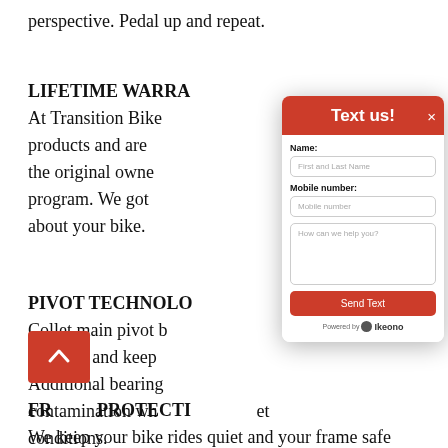perspective. Pedal up and repeat.
LIFETIME WARRA...
At Transition Bike... products and are ... or the original owne... program. We got y... about your bike.
[Figure (screenshot): A modal dialog with red header titled 'Text us!' and a close X button. Contains form fields: Name (First and Last Name placeholder), Mobile number (Mobile number placeholder), a textarea (How can we help you?), a red Send Text button, and a 'Powered by Ikeono' footer.]
PIVOT TECHNOLO...
Collet main pivot ... stiffness and keep... Additional bearing... contamination wh... et conditions.
FR... PROTECTI...
We keep your bike rides quiet and your frame safe from damage with fully integrated, flush-mounted